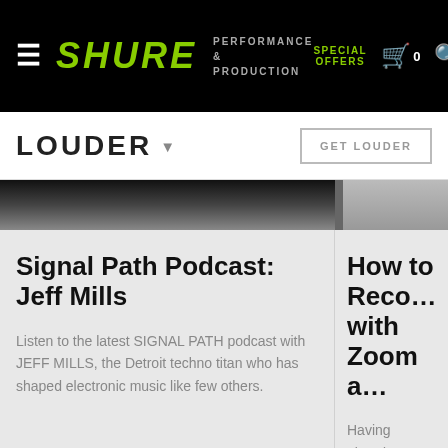SHURE PERFORMANCE & PRODUCTION | SPECIAL OFFERS | Cart 0 | Search
LOUDER
GET LOUDER
[Figure (photo): Two side-by-side article thumbnail images cropped at top]
Signal Path Podcast: Jeff Mills
Listen to the latest SIGNAL PATH podcast with JEFF MILLS, the Detroit techno titan who has shaped electronic music like few others.
How to Reco… with Zoom a…
Having already wo… streamers with its… versatility, the MV… Zoom certified mi…